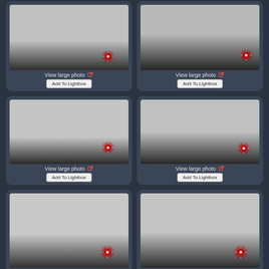[Figure (screenshot): Grid of 6 photo thumbnail cards on dark background. Each card shows a grayscale landscape photo with a red glowing dot marker, 'View large photo' link with icon, and 'Add To Lightbox' button. Bottom row is partially cut off showing only the photo and 'View large photo' link.]
View large photo
Add To Lightbox
View large photo
Add To Lightbox
View large photo
Add To Lightbox
View large photo
Add To Lightbox
View large photo
View large photo